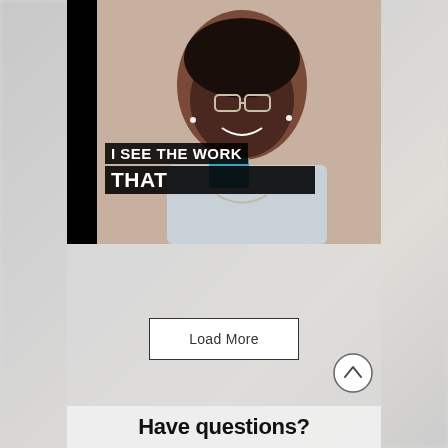[Figure (screenshot): Video thumbnail showing a smiling woman wearing glasses and earbuds with text overlay reading 'I SEE THE WORK THAT']
Load More
Have questions?